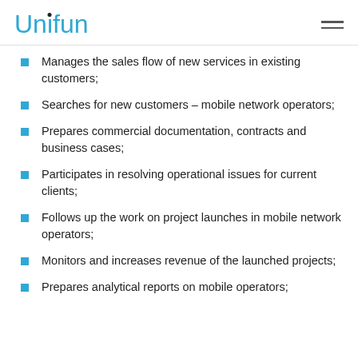Unifun
Manages the sales flow of new services in existing customers;
Searches for new customers – mobile network operators;
Prepares commercial documentation, contracts and business cases;
Participates in resolving operational issues for current clients;
Follows up the work on project launches in mobile network operators;
Monitors and increases revenue of the launched projects;
Prepares analytical reports on mobile operators;